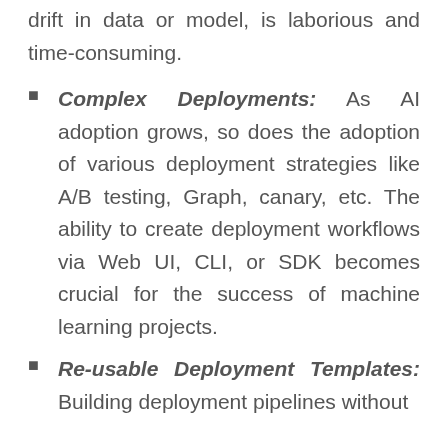drift in data or model, is laborious and time-consuming.
Complex Deployments: As AI adoption grows, so does the adoption of various deployment strategies like A/B testing, Graph, canary, etc. The ability to create deployment workflows via Web UI, CLI, or SDK becomes crucial for the success of machine learning projects.
Re-usable Deployment Templates: Building deployment pipelines without